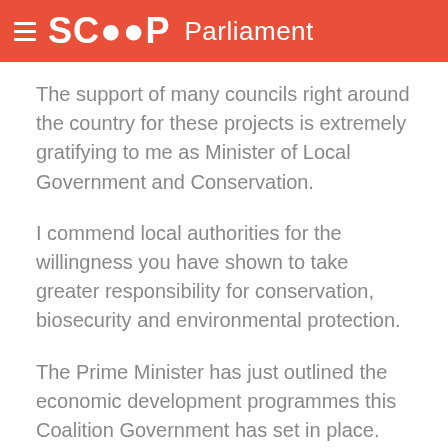SCOOP Parliament
The support of many councils right around the country for these projects is extremely gratifying to me as Minister of Local Government and Conservation.
I commend local authorities for the willingness you have shown to take greater responsibility for conservation, biosecurity and environmental protection.
The Prime Minister has just outlined the economic development programmes this Coalition Government has set in place.